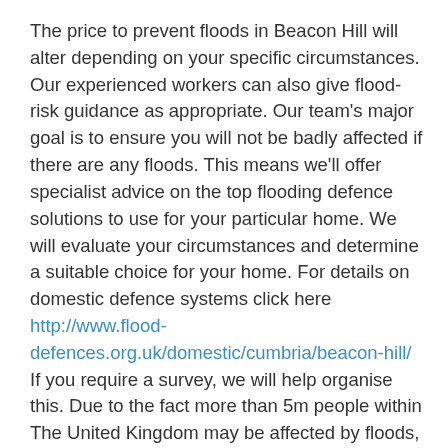The price to prevent floods in Beacon Hill will alter depending on your specific circumstances. Our experienced workers can also give flood-risk guidance as appropriate. Our team's major goal is to ensure you will not be badly affected if there are any floods. This means we'll offer specialist advice on the top flooding defence solutions to use for your particular home. We will evaluate your circumstances and determine a suitable choice for your home. For details on domestic defence systems click here http://www.flood-defences.org.uk/domestic/cumbria/beacon-hill/ If you require a survey, we will help organise this. Due to the fact more than 5m people within The United Kingdom may be affected by floods, it's recommended to find out your flood-risk. Getting flooding prevention set up ahead of time can decrease difficulties which might appear as a result of floods. Our team will also try to keep the price as low as possible to ensure you are not spending money that is not necessary. Although our costs may not be the cheapest, we do offer the best services.
Something else you might need to take into consideration when thinking about flood defence costs is sewerage defence, which we